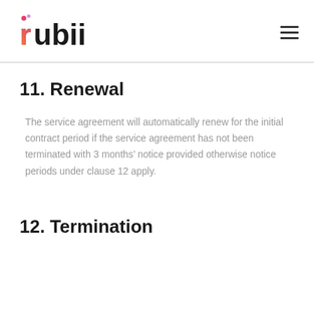rubii
11. Renewal
The service agreement will automatically renew for the initial contract period if the service agreement has not been terminated with 3 months’ notice provided otherwise notice periods under clause 12 apply.
12. Termination